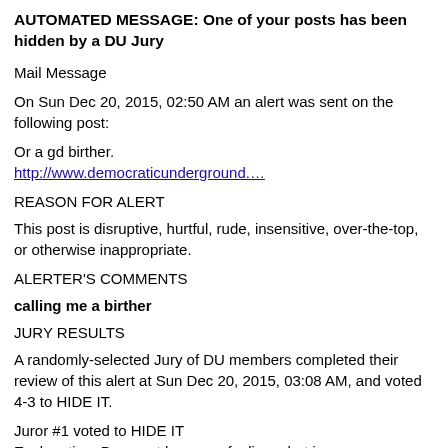AUTOMATED MESSAGE: One of your posts has been hidden by a DU Jury
Mail Message
On Sun Dec 20, 2015, 02:50 AM an alert was sent on the following post:
Or a gd birther.
http://www.democraticunderground....
REASON FOR ALERT
This post is disruptive, hurtful, rude, insensitive, over-the-top, or otherwise inappropriate.
ALERTER'S COMMENTS
calling me a birther
JURY RESULTS
A randomly-selected Jury of DU members completed their review of this alert at Sun Dec 20, 2015, 03:08 AM, and voted 4-3 to HIDE IT.
Juror #1 voted to HIDE IT
Explanation: Does not harm my feelings, but is unnessecary rude and does nothing useful for the further debate.